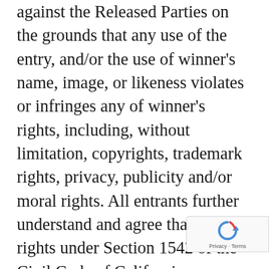against the Released Parties on the grounds that any use of the entry, and/or the use of winner's name, image, or likeness violates or infringes any of winner's rights, including, without limitation, copyrights, trademark rights, privacy, publicity and/or moral rights. All entrants further understand and agree that all rights under Section 1542 of the Civil Code of California (“Section 1542”) and any similar law of any state or territory of the United States that may be applicable with respect to the foregoing release are hereby expressly and fo[r] waived. You acknowledge that Secti[on]
[Figure (logo): reCAPTCHA badge with circular arrow logo and 'Privacy · Terms' text]